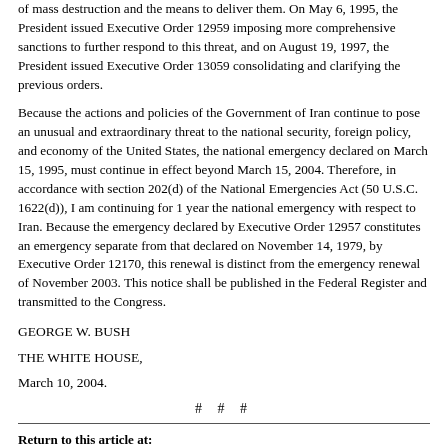of mass destruction and the means to deliver them. On May 6, 1995, the President issued Executive Order 12959 imposing more comprehensive sanctions to further respond to this threat, and on August 19, 1997, the President issued Executive Order 13059 consolidating and clarifying the previous orders.
Because the actions and policies of the Government of Iran continue to pose an unusual and extraordinary threat to the national security, foreign policy, and economy of the United States, the national emergency declared on March 15, 1995, must continue in effect beyond March 15, 2004. Therefore, in accordance with section 202(d) of the National Emergencies Act (50 U.S.C. 1622(d)), I am continuing for 1 year the national emergency with respect to Iran. Because the emergency declared by Executive Order 12957 constitutes an emergency separate from that declared on November 14, 1979, by Executive Order 12170, this renewal is distinct from the emergency renewal of November 2003. This notice shall be published in the Federal Register and transmitted to the Congress.
GEORGE W. BUSH
THE WHITE HOUSE,
March 10, 2004.
# # #
Return to this article at:
/news/releases/2004/03/text/20040311-4.html
Print this document